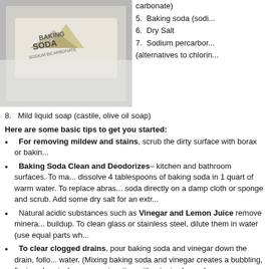[Figure (photo): Photo of a baking soda box/bag label showing 'Baking Soda' and 'Sodium Bicarbonate' text]
carbonate)
5.   Baking soda (sodi...
6.   Dry Salt
7.   Sodium percarbonate (alternatives to chlorin...
8.   Mild liquid soap (castile, olive oil soap)
Here are some basic tips to get you started:
For removing mildew and stains, scrub the dirty surface with borax or baking...
Baking Soda Clean and Deodorizes– kitchen and bathroom surfaces. To make a liquid cleanser, dissolve 4 tablespoons of baking soda in 1 quart of warm water. To replace abrasive cleaners, sprinkle baking soda directly on a damp cloth or sponge and scrub. Add some dry salt for an extra...
Natural acidic substances such as Vinegar and Lemon Juice remove mineral deposits and soap buildup. To clean glass or stainless steel, dilute them in water (use equal parts wh...
To clear clogged drains, pour baking soda and vinegar down the drain, followed by boiling water. (Mixing baking soda and vinegar creates a bubbling, fizzing chemical reaction. Do not use in conjunction with a toxic cleaner!
Washing Soda is perfect for tough jobs such as cleaning greasy ovens and gr.... caustic, so wear gloves when using it. Look for Arm & Hammer's Super Washing... aisles.
Know your Green Cleaners